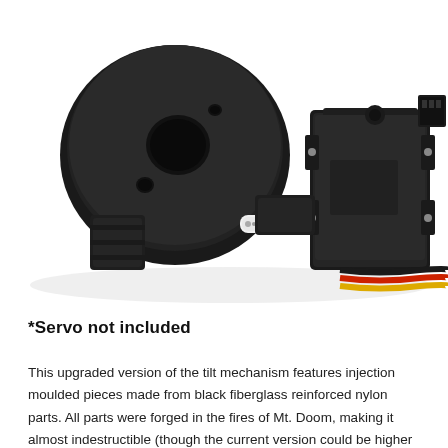[Figure (photo): A black servo-mounted tilt mechanism made from injection moulded fiberglass reinforced nylon parts. The assembly includes a circular mounting plate with holes, a bracket mechanism connected via a small white gear/connector, and a black servo motor with three colored wires (black, red, yellow) trailing from it.]
*Servo not included
This upgraded version of the tilt mechanism features injection moulded pieces made from black fiberglass reinforced nylon parts. All parts were forged in the fires of Mt. Doom, making it almost indestructible (though the current version could be higher and...